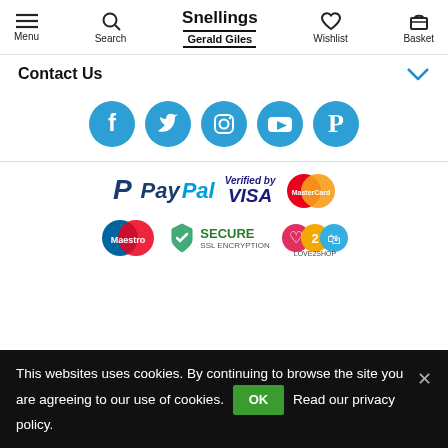Snellings Gerald Giles — Menu, Search, Wishlist, Basket navigation
Contact Us
[Figure (infographic): Row of five social media icons: Facebook, Twitter, Instagram, YouTube, Pinterest — each in a blue circle]
[Figure (infographic): Payment logos: PayPal, Verified by VISA, MasterCard, Maestro, Secure SSL Encryption, Love2Shop]
This websites uses cookies. By continuing to browse the site you are agreeing to our use of cookies. OK Read our privacy policy.